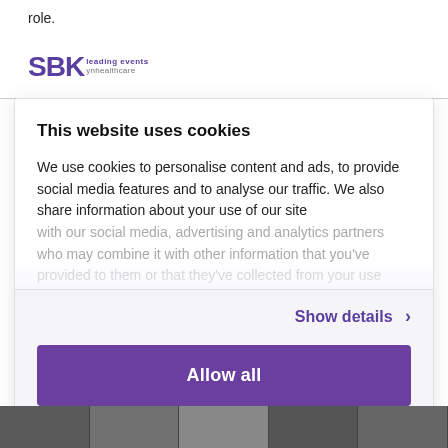role.
[Figure (logo): SBK logo with tagline 'leading events' and 'yn healthcare' in purple and gray]
This website uses cookies
We use cookies to personalise content and ads, to provide social media features and to analyse our traffic. We also share information about your use of our site with our social media, advertising and analytics partners who may combine it with other information that you've provided to them or that they've collected from your use
Show details ›
Allow all
Powered by Cookiebot by Usercentrics
[Figure (photo): Bottom image strip showing photographs]